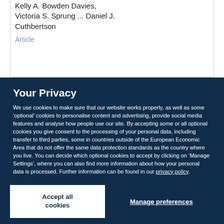Kelly A. Bowden Davies, Victoria S. Sprung ... Daniel J. Cuthbertson
Article
Your Privacy
We use cookies to make sure that our website works properly, as well as some ‘optional’ cookies to personalise content and advertising, provide social media features and analyse how people use our site. By accepting some or all optional cookies you give consent to the processing of your personal data, including transfer to third parties, some in countries outside of the European Economic Area that do not offer the same data protection standards as the country where you live. You can decide which optional cookies to accept by clicking on ‘Manage Settings’, where you can also find more information about how your personal data is processed. Further information can be found in our privacy policy.
Accept all cookies
Manage preferences